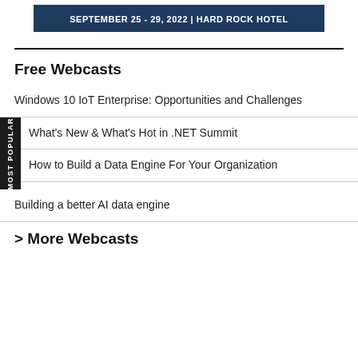[Figure (other): Banner with dark blue background showing event date and venue text: SEPTEMBER 25 - 29, 2022 | HARD ROCK HOTEL]
Free Webcasts
Windows 10 IoT Enterprise: Opportunities and Challenges
What's New & What's Hot in .NET Summit
How to Build a Data Engine For Your Organization
Building a better AI data engine
> More Webcasts